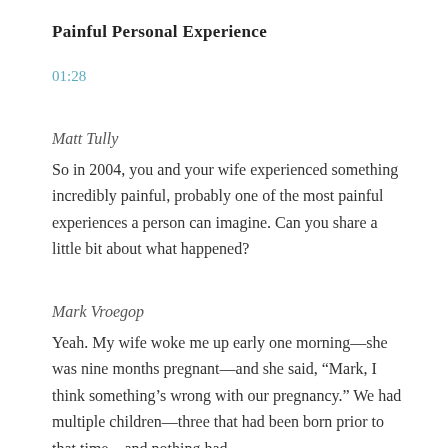Painful Personal Experience
01:28
Matt Tully
So in 2004, you and your wife experienced something incredibly painful, probably one of the most painful experiences a person can imagine. Can you share a little bit about what happened?
Mark Vroegop
Yeah. My wife woke me up early one morning—she was nine months pregnant—and she said, “Mark, I think something’s wrong with our pregnancy.” We had multiple children—three that had been born prior to that time—and nothing had